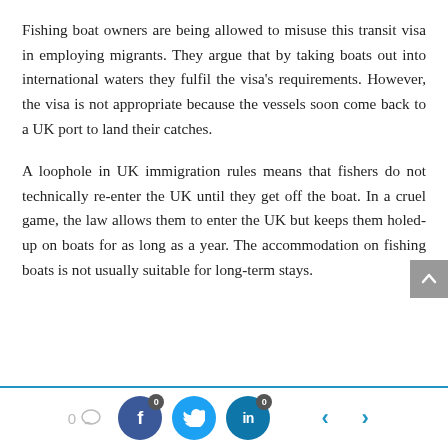Fishing boat owners are being allowed to misuse this transit visa in employing migrants. They argue that by taking boats out into international waters they fulfil the visa's requirements. However, the visa is not appropriate because the vessels soon come back to a UK port to land their catches.
A loophole in UK immigration rules means that fishers do not technically re-enter the UK until they get off the boat. In a cruel game, the law allows them to enter the UK but keeps them holed-up on boats for as long as a year. The accommodation on fishing boats is not usually suitable for long-term stays.
[Figure (other): Social media sharing footer bar with comment count (0), Facebook share button with badge 0, Twitter share button, LinkedIn share button with badge 0, and navigation arrows left/right. Blue top border line.]